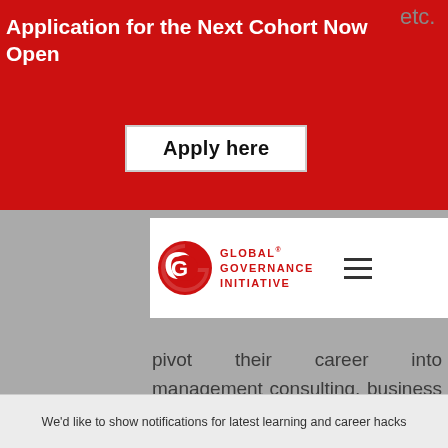Application for the Next Cohort Now Open
Apply here
[Figure (logo): Global Governance Initiative logo with red G icon and text GLOBAL GOVERNANCE INITIATIVE]
etc.
as a designed wish to specifically for those who wish to pivot their career into management consulting, business strategy, and product management
C GGI Impact Fellowship- Serves as a classic experiential learning and work-study model, designed specifically for those who are exploring Plan B for Civil Services and
We'd like to show notifications for latest learning and career hacks